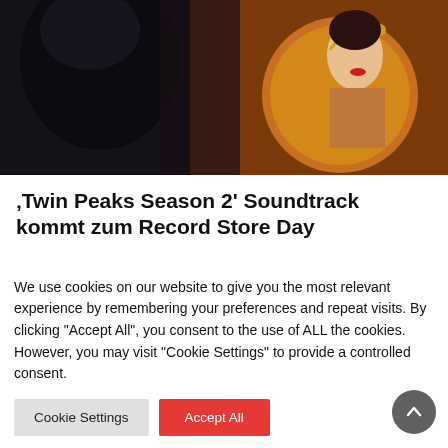[Figure (photo): Dark moody photograph showing a person from behind in dark clothing on the left, and a woman with red lipstick reflected in a circular mirror on the right, warm orange/brown tones]
„Twin Peaks Season 2‘ Soundtrack kommt zum Record Store Day
Twin Peaks Freunde können sich schonmal auf den diesjährigen Record Store Day freuen. Der bisher nur in sehr kleiner Auflage veröffentlichte und lange vergriffene
We use cookies on our website to give you the most relevant experience by remembering your preferences and repeat visits. By clicking “Accept All”, you consent to the use of ALL the cookies. However, you may visit "Cookie Settings" to provide a controlled consent.